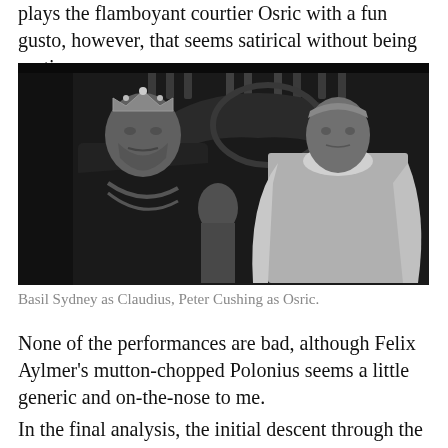plays the flamboyant courtier Osric with a fun gusto, however, that seems satirical without being grating.
[Figure (photo): Black and white film still showing Basil Sydney as Claudius wearing a crown and royal robes, and Peter Cushing as Osric in courtier costume, with background figures on stairs.]
Basil Sydney as Claudius, Peter Cushing as Osric.
None of the performances are bad, although Felix Aylmer's mutton-chopped Polonius seems a little generic and on-the-nose to me.
In the final analysis, the initial descent through the clouds